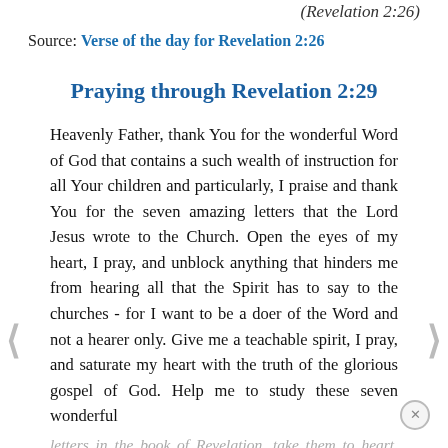over the nations.
(Revelation 2:26)
Source: Verse of the day for Revelation 2:26
Praying through Revelation 2:29
Heavenly Father, thank You for the wonderful Word of God that contains a such wealth of instruction for all Your children and particularly, I praise and thank You for the seven amazing letters that the Lord Jesus wrote to the Church. Open the eyes of my heart, I pray, and unblock anything that hinders me from hearing all that the Spirit has to say to the churches - for I want to be a doer of the Word and not a hearer only. Give me a teachable spirit, I pray, and saturate my heart with the truth of the glorious gospel of God. Help me to study these seven wonderful
letters in the book of Revelation, take them to heart, and practice them diligently in my life. This I ask in Jesus'